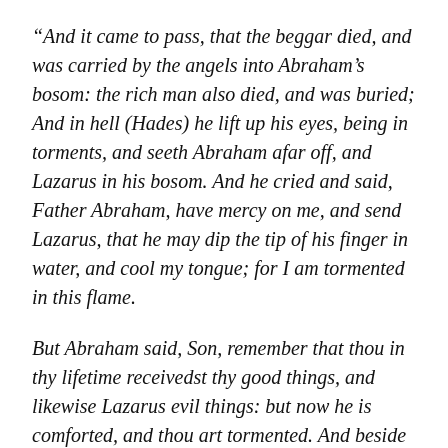“And it came to pass, that the beggar died, and was carried by the angels into Abraham’s bosom: the rich man also died, and was buried; And in hell (Hades) he lift up his eyes, being in torments, and seeth Abraham afar off, and Lazarus in his bosom. And he cried and said, Father Abraham, have mercy on me, and send Lazarus, that he may dip the tip of his finger in water, and cool my tongue; for I am tormented in this flame.
But Abraham said, Son, remember that thou in thy lifetime receivedst thy good things, and likewise Lazarus evil things: but now he is comforted, and thou art tormented. And beside all this, between us and you there is a great gulf fixed: so that they which would pass